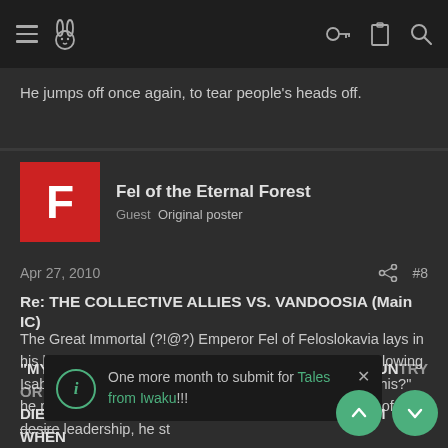Navigation bar with hamburger menu, rabbit logo, key icon, clipboard icon, search icon
He jumps off once again, to tear people's heads off.
Fel of the Eternal Forest
Guest  Original poster
Apr 27, 2010  #8
Re: THE COLLECTIVE ALLIES VS. VANDOOSIA (Main IC)
The Great Immortal (?!@?) Emperor Fel of Feloslokavia lays in his bedchamber, raging to himself about that goddamn glowing Isabella and his Vandoosians. "What shall we do about this?" he ponders aloud to nobody. Groaning under the weight of desire leadership, he steps out to the balcony di
One more month to submit for Tales from Iwaku!!!
"MY PEOPLE, GO FORTH AND DIE FOR YOUR COUNTRY OR
DIE IN THE CELLARS OF THE VANDOOSIAN SCUM WHEN